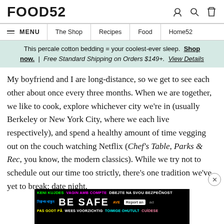FOOD52
≡ MENU | The Shop | Recipes | Food | Home52
This percale cotton bedding = your coolest-ever sleep. Shop now. | Free Standard Shipping on Orders $149+. View Details
My boyfriend and I are long-distance, so we get to see each other about once every three months. When we are together, we like to cook, explore whichever city we're in (usually Berkeley or New York City, where we each live respectively), and spend a healthy amount of time vegging out on the couch watching Netflix (Chef's Table, Parks & Rec, you know, the modern classics). While we try not to schedule out our time too strictly, there's one tradition we've yet to break: date night.
[Figure (other): BE SAFE multilingual public service advertisement banner]